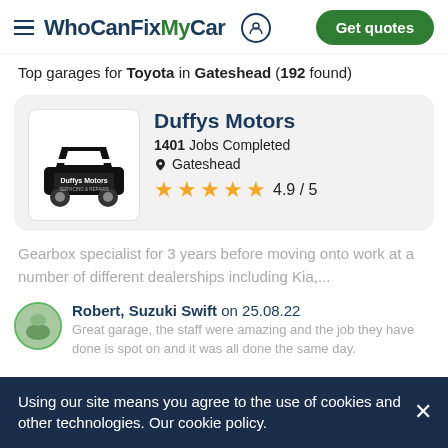WhoCanFixMyCar — Get quotes
Top garages for Toyota in Gateshead (192 found)
Duffys Motors
1401 Jobs Completed
Gateshead
4.9 / 5
Gearbox specialist for 3 years before moving onto work at a number of different dealerships including Kia,...
Robert, Suzuki Swift on 25.08.22
Great garage, the staff were amazing and the job they have done is spot on and it was all done the same day.
Using our site means you agree to the use of cookies and other technologies. Our cookie policy.